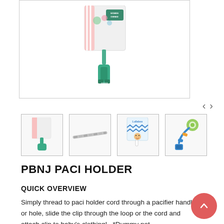[Figure (photo): Main product image showing PBNJ Paci Holder - a pacifier clip with teal/green clip and decorative cord with floral packaging, Women Owned badge visible]
[Figure (photo): Thumbnail 1: PBNJ Paci Holder product in packaging]
[Figure (photo): Thumbnail 2: Close-up of the paci holder cord/strap]
[Figure (photo): Thumbnail 3: Paci holder with blue chevron pattern and packaging]
[Figure (photo): Thumbnail 4: Paci holder attached to pacifier with colorful strap]
PBNJ PACI HOLDER
QUICK OVERVIEW
Simply thread to paci holder cord through a pacifier handle or hole, slide the clip through the loop or the cord and attach clip to baby's clothing!   *Dummy not...